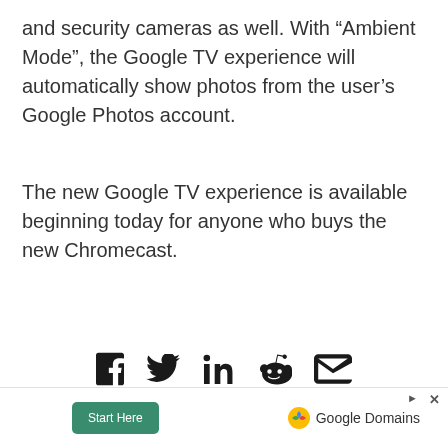and security cameras as well. With “Ambient Mode”, the Google TV experience will automatically show photos from the user’s Google Photos account.
The new Google TV experience is available beginning today for anyone who buys the new Chromecast.
[Figure (infographic): Social sharing icons row: Facebook, Twitter, LinkedIn, Reddit, Email (envelope)]
TAGS   GOOGLE   CHROMECAST
[Figure (infographic): Google Domains advertisement banner with 'Start Here' button and Google Domains logo]